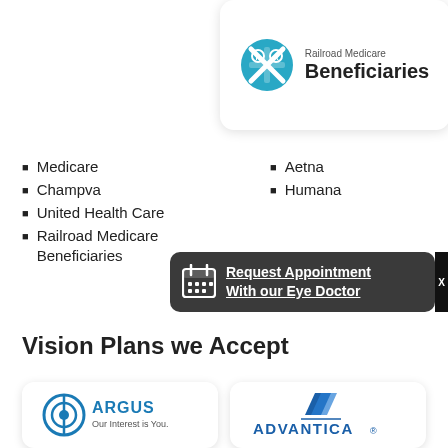[Figure (logo): Railroad Medicare Beneficiaries logo card with teal circular icon and text]
Medicare
Champva
United Health Care
Railroad Medicare Beneficiaries
Aetna
Humana
[Figure (screenshot): Dark popup overlay with calendar icon and Request Appointment With our Eye Doctor link and X close button]
Vision Plans we Accept
[Figure (logo): Argus Our Interest is You logo card]
[Figure (logo): Advantica logo card]